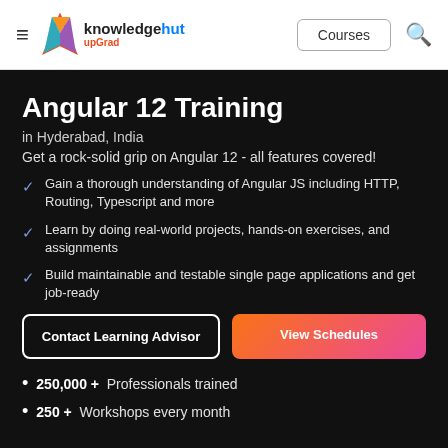knowledgehut upGrad — Courses
Angular 12 Training
in Hyderabad, India
Get a rock-solid grip on Angular 12 - all features covered!
Gain a thorough understanding of Angular JS including HTTP, Routing, Typescript and more
Learn by doing real-world projects, hands-on exercises, and assignments
Build maintainable and testable single page applications and get job-ready
Contact Learning Advisor  |  View Schedules
250,000 +  Professionals trained
250 +  Workshops every month